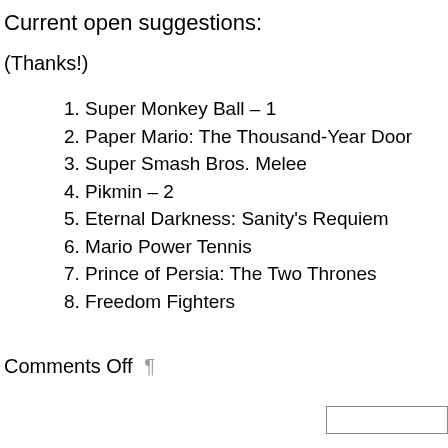Current open suggestions:
(Thanks!)
1. Super Monkey Ball – 1
2. Paper Mario: The Thousand-Year Door
3. Super Smash Bros. Melee
4. Pikmin – 2
5. Eternal Darkness: Sanity's Requiem
6. Mario Power Tennis
7. Prince of Persia: The Two Thrones
8. Freedom Fighters
Comments Off ¶